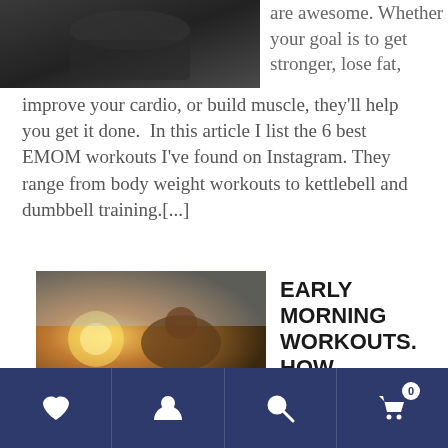[Figure (photo): Photo of person exercising, dark tones, partial view at top]
are awesome. Whether your goal is to get stronger, lose fat, improve your cardio, or build muscle, they’ll help you get it done.  In this article I list the 6 best EMOM workouts I’ve found on Instagram. They range from body weight workouts to kettlebell and dumbbell training.[...]
[Figure (photo): Person doing a push-up or outdoor exercise, warm sunlit tones]
EARLY MORNING WORKOUTS. HOW
Navigation bar with heart, user, search, and cart (0) icons